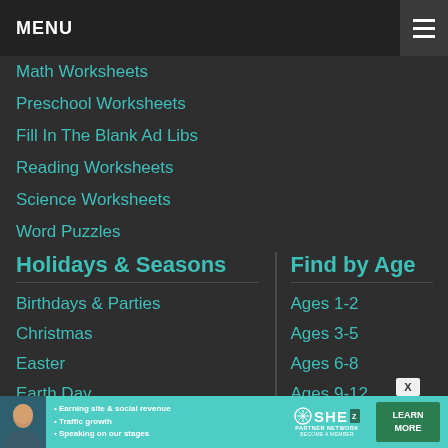MENU
Math Worksheets
Preschool Worksheets
Fill In The Blank Ad Libs
Reading Worksheets
Science Worksheets
Word Puzzles
Writing Worksheets
Holidays & Seasons
Find by Age
Birthdays & Parties
Ages 1-2
Christmas
Ages 3-5
Easter
Ages 6-8
Earth Day
Ages 9-12
Halloween
For Teens
Mother's Day & Father's Day
Patriotic & Heritage Holidays
St. Patrick's Day
[Figure (infographic): SHE Partner Network advertisement banner with woman photo, bullet points about earning site & social revenue, traffic growth, speaking on stages, SHE logo, and LEARN MORE button]